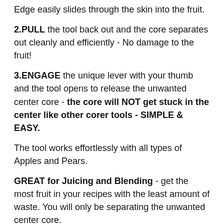Edge easily slides through the skin into the fruit.
2.PULL the tool back out and the core separates out cleanly and efficiently - No damage to the fruit!
3.ENGAGE the unique lever with your thumb and the tool opens to release the unwanted center core - the core will NOT get stuck in the center like other corer tools - SIMPLE & EASY.
The tool works effortlessly with all types of Apples and Pears.
GREAT for Juicing and Blending - get the most fruit in your recipes with the least amount of waste. You will only be separating the unwanted center core.
The large diameter of the center shaft will get out all the